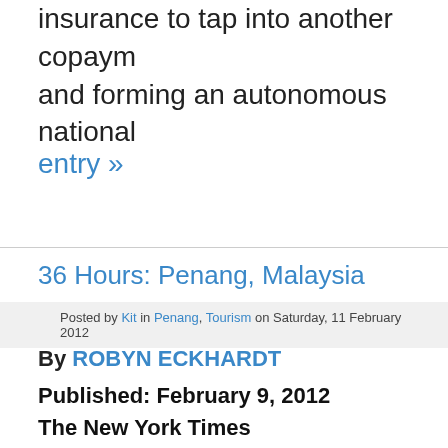insurance to tap into another copaym and forming an autonomous national
entry »
36 Hours: Penang, Malaysia
Posted by Kit in Penang, Tourism on Saturday, 11 February 2012
By ROBYN ECKHARDT
Published: February 9, 2012
The New York Times